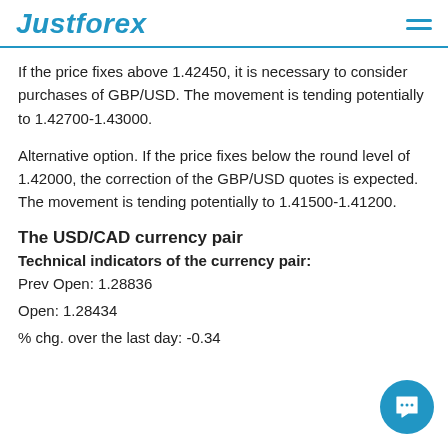JustForex
If the price fixes above 1.42450, it is necessary to consider purchases of GBP/USD. The movement is tending potentially to 1.42700-1.43000.
Alternative option. If the price fixes below the round level of 1.42000, the correction of the GBP/USD quotes is expected. The movement is tending potentially to 1.41500-1.41200.
The USD/CAD currency pair
Technical indicators of the currency pair:
Prev Open: 1.28836
Open: 1.28434
% chg. over the last day: -0.34